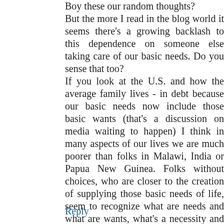Boy these our random thoughts? But the more I read in the blog world it seems there's a growing backlash to this dependence on someone else taking care of our basic needs. Do you sense that too? If you look at the U.S. and how the average family lives - in debt because our basic needs now include those basic wants (that's a discussion on media waiting to happen) I think in many aspects of our lives we are much poorer than folks in Malawi, India or Papua New Guinea. Folks without choices, who are closer to the creation of supplying those basic needs of life, seem to recognize what are needs and what are wants, what's a necessity and what should be treated as a treat and therefore not expected everyday, every week but maybe once a year. I'm trying to teach my kids that dessert isn't something I'll provide every day. It's just for the weekends. It's a hard habit to break but I think, for me, it demonstrates what the U.S. is used to and expects (dessert every day) when in reality what is best financially, dietarily and spiritually is dessert once a week, keeping the special special. Done!
Reply